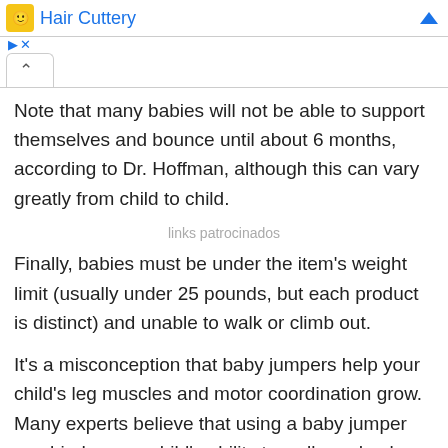Hair Cuttery
Note that many babies will not be able to support themselves and bounce until about 6 months, according to Dr. Hoffman, although this can vary greatly from child to child.
links patrocinados
Finally, babies must be under the item's weight limit (usually under 25 pounds, but each product is distinct) and unable to walk or climb out.
It's a misconception that baby jumpers help your child's leg muscles and motor coordination grow. Many experts believe that using a baby jumper can hinder your child's ability to walk, and only recommend using it for 20 minutes per day.